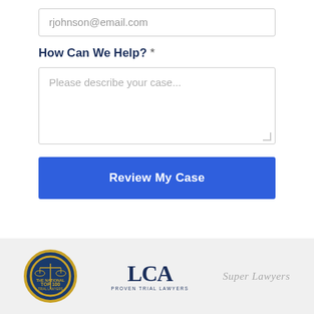rjohnson@email.com
How Can We Help? *
Please describe your case...
Review My Case
[Figure (logo): National Trial Lawyers Top 100 badge - circular gold-bordered dark blue badge]
[Figure (logo): LCA Proven Trial Lawyers logo]
[Figure (logo): Super Lawyers text logo in grey italic]